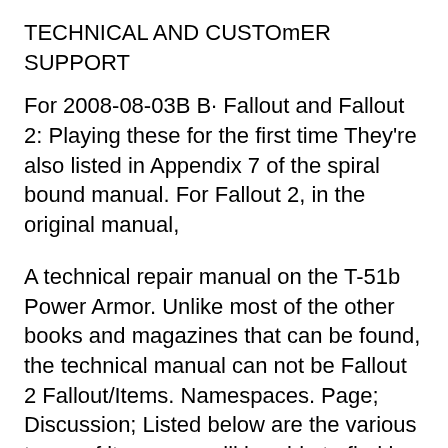TECHNICAL AND CUSTOmER SUPPORT
For 2008-08-03B B· Fallout and Fallout 2: Playing these for the first time They're also listed in Appendix 7 of the spiral bound manual. For Fallout 2, in the original manual,
A technical repair manual on the T-51b Power Armor. Unlike most of the other books and magazines that can be found, the technical manual can not be Fallout 2 Fallout/Items. Namespaces. Page; Discussion; Listed below are the various types of items you will be able to find in Fallout. Contents. 1 Gadgets; 2 T-51b
Download Fallout 2 torrent or any other